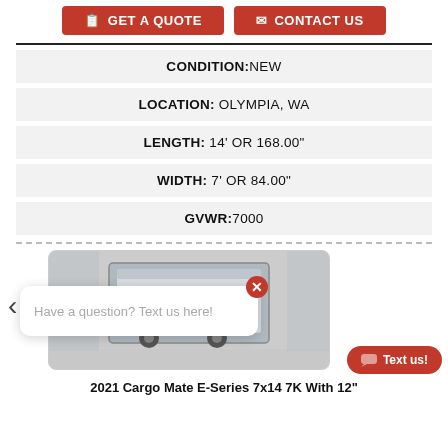[Figure (other): Two buttons: 'Get a Quote' and 'Contact Us' in red with white text]
| CONDITION: | NEW |
| LOCATION: | OLYMPIA, WA |
| LENGTH: | 14' OR 168.00" |
| WIDTH: | 7' OR 84.00" |
| GVWR: | 7000 |
[Figure (photo): Photo of a 2021 Cargo Mate E-Series 7x14 7K trailer, white/grey enclosed cargo trailer, with a chat popup overlay reading 'Have a question? Text us here!' and a red 'Text us!' button]
2021 Cargo Mate E-Series 7x14 7K With 12"